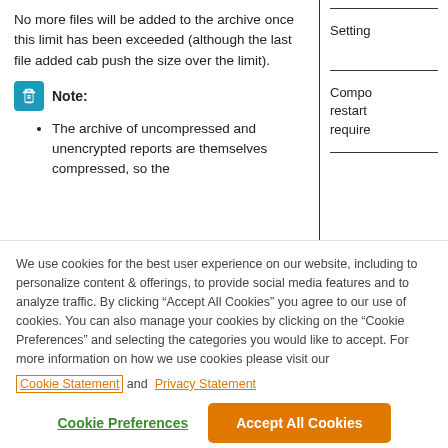No more files will be added to the archive once this limit has been exceeded (although the last file added cab push the size over the limit).
Note:
The archive of uncompressed and unencrypted reports are themselves compressed, so the
Setting
Compo restart require
We use cookies for the best user experience on our website, including to personalize content & offerings, to provide social media features and to analyze traffic. By clicking “Accept All Cookies” you agree to our use of cookies. You can also manage your cookies by clicking on the “Cookie Preferences” and selecting the categories you would like to accept. For more information on how we use cookies please visit our Cookie Statement and Privacy Statement
Cookie Preferences
Accept All Cookies